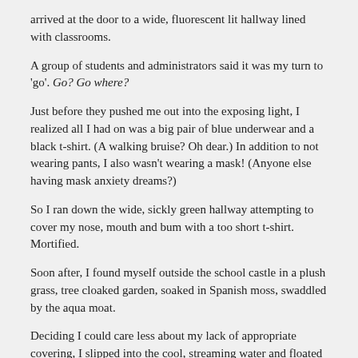arrived at the door to a wide, fluorescent lit hallway lined with classrooms.
A group of students and administrators said it was my turn to 'go'. Go? Go where?
Just before they pushed me out into the exposing light, I realized all I had on was a big pair of blue underwear and a black t-shirt. (A walking bruise? Oh dear.) In addition to not wearing pants, I also wasn't wearing a mask! (Anyone else having mask anxiety dreams?)
So I ran down the wide, sickly green hallway attempting to cover my nose, mouth and bum with a too short t-shirt. Mortified.
Soon after, I found myself outside the school castle in a plush grass, tree cloaked garden, soaked in Spanish moss, swaddled by the aqua moat.
Deciding I could care less about my lack of appropriate covering, I slipped into the cool, streaming water and floated on my back, staring up at a stone bridge connecting castle-school towers, cutting the earth and sky in two.